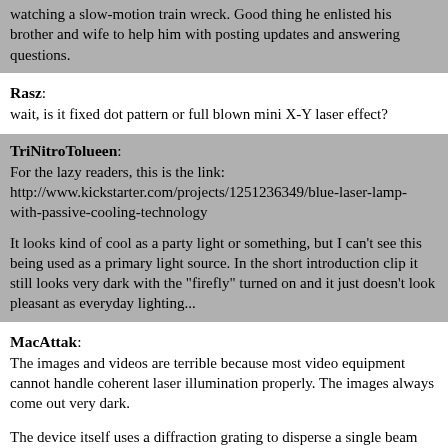watching a slow-motion train wreck. Good thing he enlisted his brother and wife to help him with posting updates and answering questions.
Rasz:
wait, is it fixed dot pattern or full blown mini X-Y laser effect?
TriNitroTolueen:
For the lazy readers, this is the link: http://www.kickstarter.com/projects/1251236349/blue-laser-lamp-with-passive-cooling-technology

It looks kind of cool as a party light or something, but I can't see this being used as a primary light source. In the short introduction clip it still looks very dark with the "firefly" turned on and it just doesn't look pleasant as everyday lighting...
MacAttak:
The images and videos are terrible because most video equipment cannot handle coherent laser illumination properly. The images always come out very dark.
The device itself uses a diffraction grating to disperse a single beam into a grid pattern (within a forward-facing cone).
The basic concept is that the individual diffracted beams do not